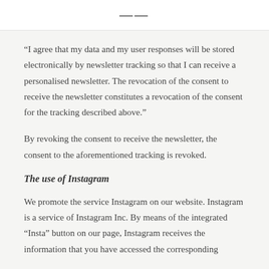≡
“I agree that my data and my user responses will be stored electronically by newsletter tracking so that I can receive a personalised newsletter. The revocation of the consent to receive the newsletter constitutes a revocation of the consent for the tracking described above.”
By revoking the consent to receive the newsletter, the consent to the aforementioned tracking is revoked.
The use of Instagram
We promote the service Instagram on our website. Instagram is a service of Instagram Inc. By means of the integrated “Insta” button on our page, Instagram receives the information that you have accessed the corresponding